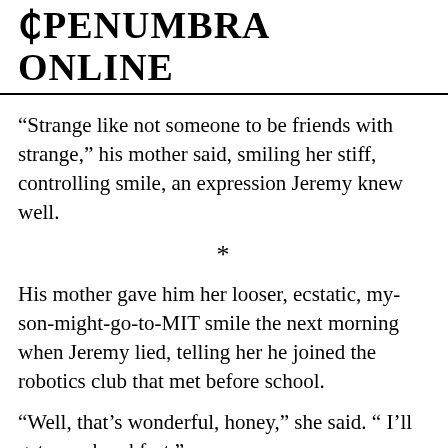₱PENUMBRA ONLINE
“Strange like not someone to be friends with strange,” his mother said, smiling her stiff, controlling smile, an expression Jeremy knew well.
*
His mother gave him her looser, ecstatic, my-son-might-go-to-MIT smile the next morning when Jeremy lied, telling her he joined the robotics club that met before school.
“Well, that’s wonderful, honey,” she said. “ I’ll get your breakfast.”
As he walked to the roundata Jeremy then what about